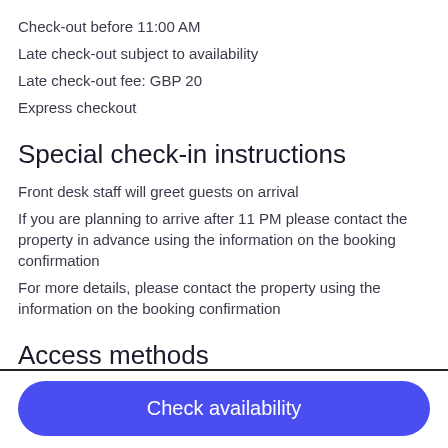Check-out before 11:00 AM
Late check-out subject to availability
Late check-out fee: GBP 20
Express checkout
Special check-in instructions
Front desk staff will greet guests on arrival
If you are planning to arrive after 11 PM please contact the property in advance using the information on the booking confirmation
For more details, please contact the property using the information on the booking confirmation
Access methods
Staffed front desk
Check availability